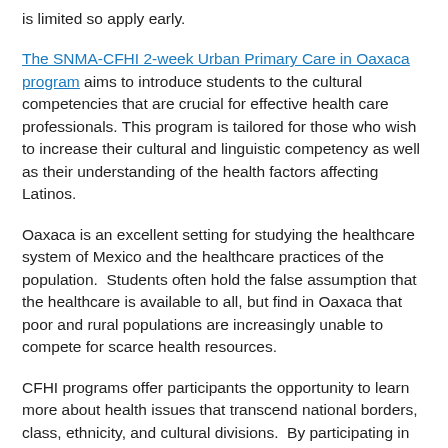is limited so apply early.
The SNMA-CFHI 2-week Urban Primary Care in Oaxaca program aims to introduce students to the cultural competencies that are crucial for effective health care professionals. This program is tailored for those who wish to increase their cultural and linguistic competency as well as their understanding of the health factors affecting Latinos.
Oaxaca is an excellent setting for studying the healthcare system of Mexico and the healthcare practices of the population.  Students often hold the false assumption that the healthcare is available to all, but find in Oaxaca that poor and rural populations are increasingly unable to compete for scarce health resources.
CFHI programs offer participants the opportunity to learn more about health issues that transcend national borders, class, ethnicity, and cultural divisions.  By participating in